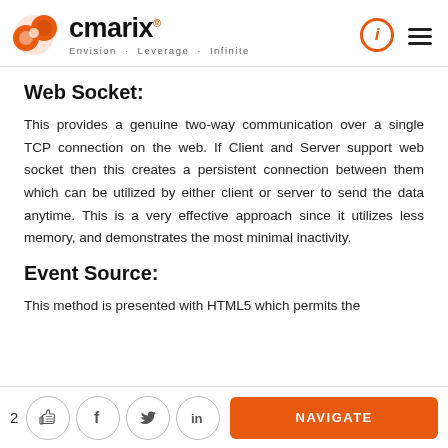cmarix® — Envision · Leverage · Infinite
Web Socket:
This provides a genuine two-way communication over a single TCP connection on the web. If Client and Server support web socket then this creates a persistent connection between them which can be utilized by either client or server to send the data anytime. This is a very effective approach since it utilizes less memory, and demonstrates the most minimal inactivity.
Event Source:
This method is presented with HTML5 which permits the
2  [social icons]  NAVIGATE